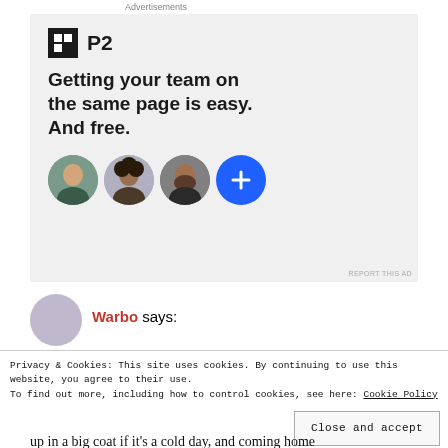Advertisements
[Figure (illustration): P2 advertisement banner with logo, headline 'Getting your team on the same page is easy. And free.' with three user avatars and a blue plus button on a light gray background]
Warbo says:
Privacy & Cookies: This site uses cookies. By continuing to use this website, you agree to their use.
To find out more, including how to control cookies, see here: Cookie Policy
Close and accept
up in a big coat if it's a cold day, and coming home